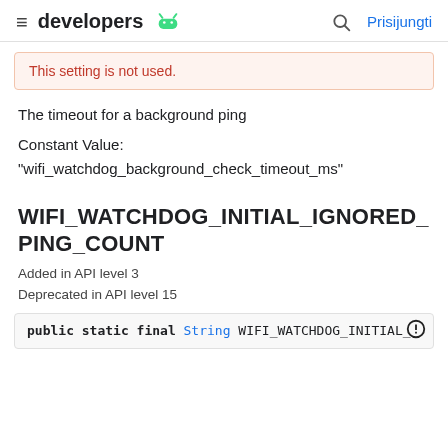developers | Prisijungti
This setting is not used.
The timeout for a background ping
Constant Value:
"wifi_watchdog_background_check_timeout_ms"
WIFI_WATCHDOG_INITIAL_IGNORED_PING_COUNT
Added in API level 3
Deprecated in API level 15
public static final String WIFI_WATCHDOG_INITIAL_...